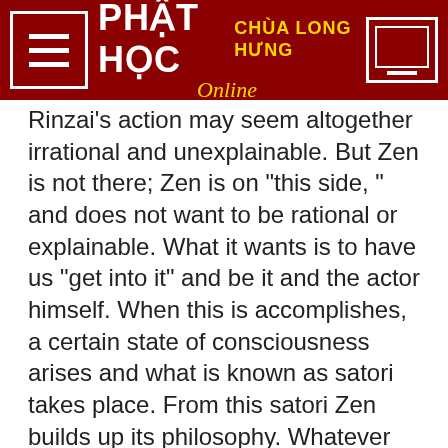PHẬT HỌC CHÙA LONG HƯNG Online
Rinzai's action may seem altogether irrational and unexplainable. But Zen is not there; Zen is on "this side, " and does not want to be rational or explainable. What it wants is to have us "get into it" and be it and the actor himself. When this is accomplishes, a certain state of consciousness arises and what is known as satori takes place. From this satori Zen builds up its philosophy. Whatever objectivity or intellectualization or utilitarian purposefulness there is in Zen, it all starts from this satori experience. Where this is absent, we inevitably get involved in the interpretation of the "that-side" aspect of, for instance, Rinzai's declaration of the "man of no title" and the treatment he accorded to the questioning monk. The "that-side" aspect is mere superficiality and never gives us the inside or the "this-side" view of reality. There is here a storehouse of infinite richness, filled with all possibilities, as the